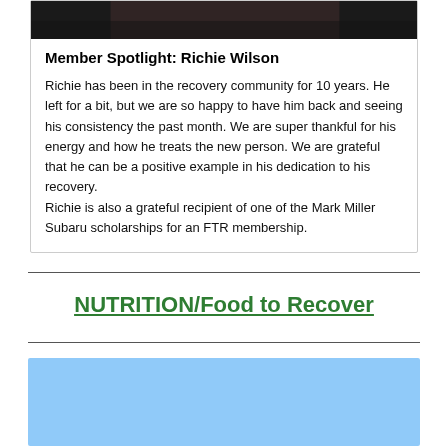[Figure (photo): Dark/shadowed photo strip at top of card]
Member Spotlight: Richie Wilson
Richie has been in the recovery community for 10 years. He left for a bit, but we are so happy to have him back and seeing his consistency the past month. We are super thankful for his energy and how he treats the new person. We are grateful that he can be a positive example in his dedication to his recovery.
Richie is also a grateful recipient of one of the Mark Miller Subaru scholarships for an FTR membership.
NUTRITION/Food to Recover
[Figure (other): Light blue bar at bottom of page]